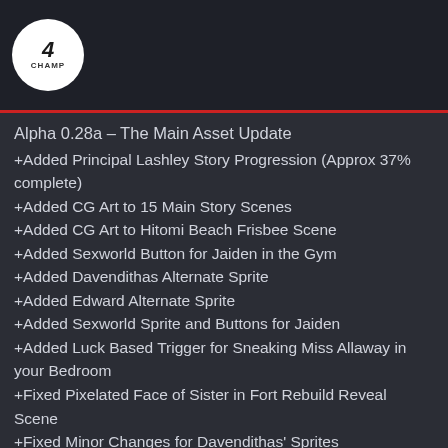[Figure (logo): Circular logo with a stylized slash/number 4 and text 'Adult CHAMP' below]
Alpha 0.28a – The Main Asset Update
+Added Principal Lashley Story Progression (Approx 37% complete)
+Added CG Art to 15 Main Story Scenes
+Added CG Art to Hitomi Beach Frisbee Scene
+Added Sexworld Button for Jaiden in the Gym
+Added Davendithas Alternate Sprite
+Added Edward Alternate Sprite
+Added Sexworld Sprite and Buttons for Jaiden
+Added Luck Based Trigger for Sneaking Miss Allaway in your Bedroom
+Fixed Pixelated Face of Sister in Fort Rebuild Reveal Scene
+Fixed Minor Changes for Davendithas' Sprites
+Fixed Principal Lashley trigger fail and sends the player to the changerooms
+Fixed 'Continue' Trigger Fail when doing buttstuff with Jane at Camgurl Stream